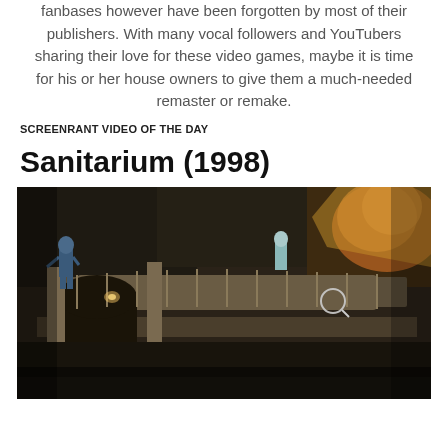fanbases however have been forgotten by most of their publishers. With many vocal followers and YouTubers sharing their love for these video games, maybe it is time for his or her house owners to give them a much-needed remaster or remake.
SCREENRANT VIDEO OF THE DAY
Sanitarium (1998)
[Figure (screenshot): Screenshot from Sanitarium (1998) video game showing a dark gothic asylum interior with stone bridges, arched doorways, a character in blue to the left, another character in the center background, and dramatic fiery imagery in the upper right corner.]